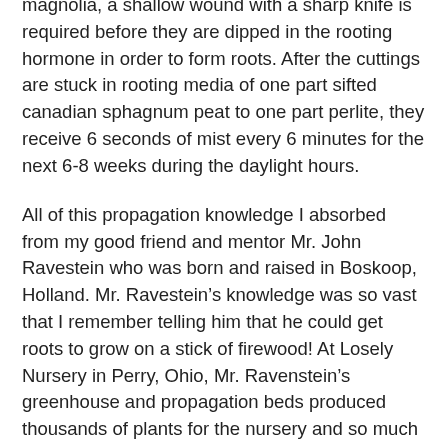magnolia, a shallow wound with a sharp knife is required before they are dipped in the rooting hormone in order to form roots. After the cuttings are stuck in rooting media of one part sifted canadian sphagnum peat to one part perlite, they receive 6 seconds of mist every 6 minutes for the next 6-8 weeks during the daylight hours.
All of this propagation knowledge I absorbed from my good friend and mentor Mr. John Ravestein who was born and raised in Boskoop, Holland. Mr. Ravestein’s knowledge was so vast that I remember telling him that he could get roots to grow on a stick of firewood! At Losely Nursery in Perry, Ohio, Mr. Ravenstein’s greenhouse and propagation beds produced thousands of plants for the nursery and so much so that the propagation facilities were like a factory. How fortunate for me to having met Mr. Ravestein who had helped me so much. Unfortunately I cannot thank him again as he is now deceased a few years back. I will